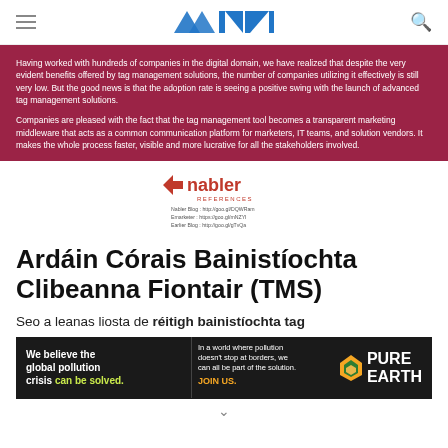MAT (logo)
Having worked with hundreds of companies in the digital domain, we have realized that despite the very evident benefits offered by tag management solutions, the number of companies utilizing it effectively is still very low. But the good news is that the adoption rate is seeing a positive swing with the launch of advanced tag management solutions.

Companies are pleased with the fact that the tag management tool becomes a transparent marketing middleware that acts as a common communication platform for marketers, IT teams, and solution vendors. It makes the whole process faster, visible and more lucrative for all the stakeholders involved.
[Figure (logo): Nabler logo with REFERENCES label and three reference URLs below: Nabler Blog: http://goo.gl/DQWRam, EMarketer: https://goo.gl/mNZYI, Earlier Blog: http://goo.gl/gTvQa]
Ardáin Córais Bainistíochta Clibeanna Fiontair (TMS)
Seo a leanas liosta de réitigh bainistíochta tag
[Figure (other): Pure Earth advertisement banner: 'We believe the global pollution crisis can be solved. In a world where pollution doesn't stop at borders, we can all be part of the solution. JOIN US.' with Pure Earth logo.]